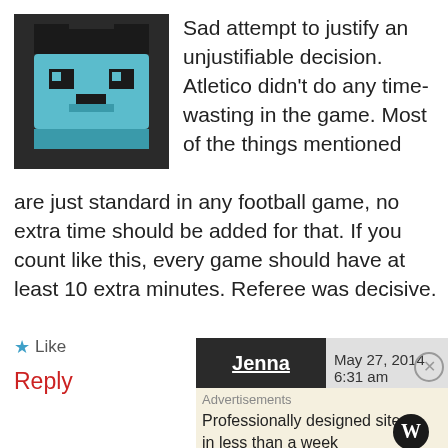[Figure (illustration): Pixel art avatar of a creature with dark background and teal/cyan colored face]
Sad attempt to justify an unjustifiable decision. Atletico didn't do any time-wasting in the game. Most of the things mentioned are just standard in any football game, no extra time should be added for that. If you count like this, every game should have at least 10 extra minutes. Referee was decisive.
★ Like
Reply
Jenna   May 27, 2014  6:31 am
Advertisements
Professionally designed sites in less than a week